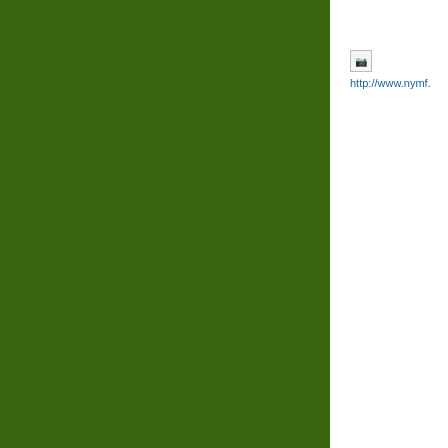[Figure (other): Broken image placeholder with URL link to http://www.nymf.]
Status: After a ver season, but the the My take: In short, review.) I'm not sur It's a gem.
May 19, 2010 1:53:5 Jukebox musicals, M musicals
Comm